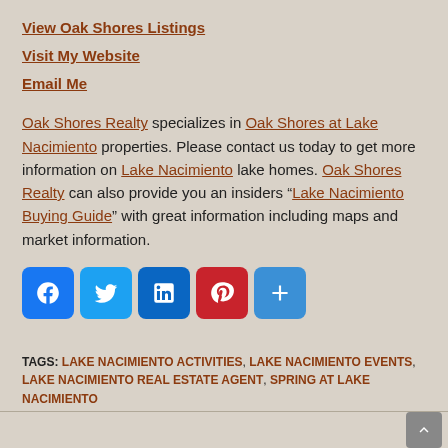View Oak Shores Listings
Visit My Website
Email Me
Oak Shores Realty specializes in Oak Shores at Lake Nacimiento properties. Please contact us today to get more information on Lake Nacimiento lake homes. Oak Shores Realty can also provide you an insiders “Lake Nacimiento Buying Guide” with great information including maps and market information.
[Figure (infographic): Social media share buttons: Facebook, Twitter, LinkedIn, Pinterest, More]
TAGS: LAKE NACIMIENTO ACTIVITIES, LAKE NACIMIENTO EVENTS, LAKE NACIMIENTO REAL ESTATE AGENT, SPRING AT LAKE NACIMIENTO
Scroll to top button